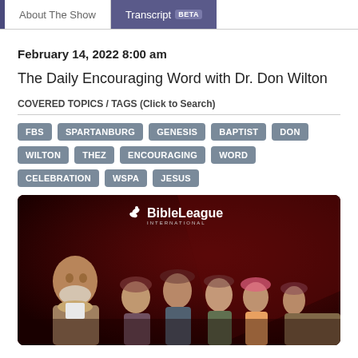About The Show | Transcript BETA
February 14, 2022 8:00 am
The Daily Encouraging Word with Dr. Don Wilton
COVERED TOPICS / TAGS (Click to Search)
FBS
SPARTANBURG
GENESIS
BAPTIST
DON
WILTON
THEZ
ENCOURAGING
WORD
CELEBRATION
WSPA
JESUS
[Figure (photo): Bible League International banner with a group of people including an older man with a beard and scarf on the left, and several women in the background, against a dark red background.]